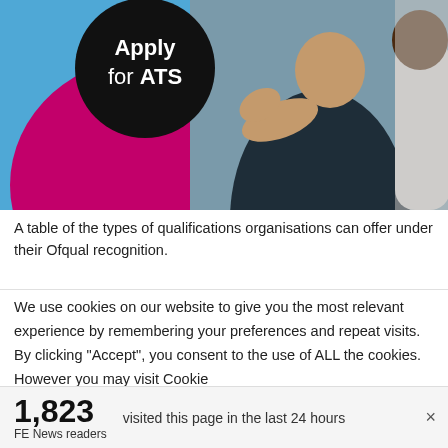[Figure (photo): Banner image showing two people in conversation, with blue background, a magenta circle, and a black circle badge reading 'Apply for ATS']
A table of the types of qualifications organisations can offer under their Ofqual recognition.
We use cookies on our website to give you the most relevant experience by remembering your preferences and repeat visits. By clicking “Accept”, you consent to the use of ALL the cookies. However you may visit Cookie
1,823
FE News readers
visited this page in the last 24 hours